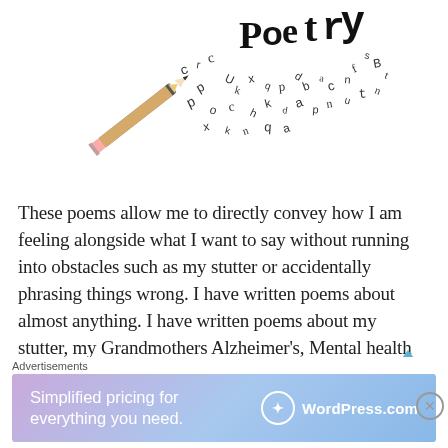[Figure (illustration): A pencil with scattered letters and the word 'Poetry' floating above it in various fonts and sizes, on a white background]
These poems allow me to directly convey how I am feeling alongside what I want to say without running into obstacles such as my stutter or accidentally phrasing things wrong. I have written poems about almost anything. I have written poems about my stutter, my Grandmothers Alzheimer's, Mental health and many other topics. I like to always follow a set
Advertisements
[Figure (screenshot): WordPress.com advertisement banner: 'Simplified pricing for everything you need.' with WordPress.com logo on a purple-blue gradient background]